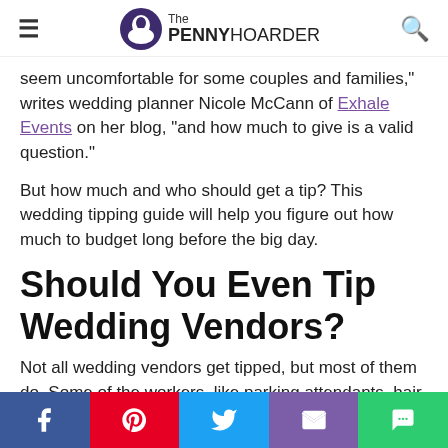The PENNY HOARDER
seem uncomfortable for some couples and families," writes wedding planner Nicole McCann of Exhale Events on her blog, "and how much to give is a valid question."
But how much and who should get a tip? This wedding tipping guide will help you figure out how much to budget long before the big day.
Should You Even Tip Wedding Vendors?
Not all wedding vendors get tipped, but most of them do. Some of the workers, like parking attendants, hair and makeup, reception staff, and the band or DJ depend on tips